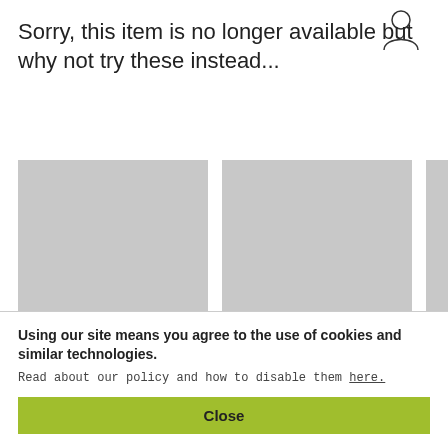[Figure (illustration): Simple outline icon of a person (user account silhouette), top-right area]
Sorry, this item is no longer available but why not try these instead...
[Figure (other): Three gray placeholder product image boxes arranged horizontally]
Using our site means you agree to the use of cookies and similar technologies.
Read about our policy and how to disable them here.
Close